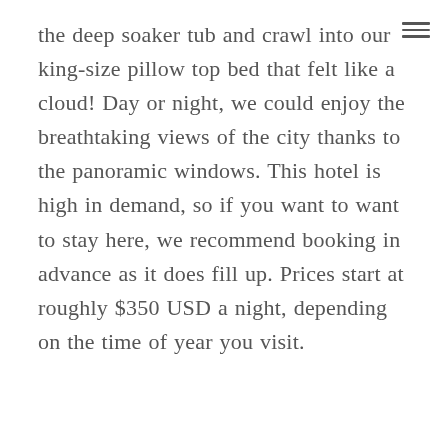the deep soaker tub and crawl into our king-size pillow top bed that felt like a cloud! Day or night, we could enjoy the breathtaking views of the city thanks to the panoramic windows. This hotel is high in demand, so if you want to want to stay here, we recommend booking in advance as it does fill up. Prices start at roughly $350 USD a night, depending on the time of year you visit.